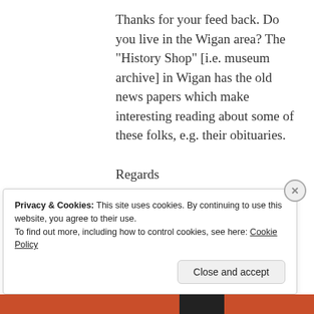Thanks for your feed back. Do you live in the Wigan area? The “History Shop” [i.e. museum archive] in Wigan has the old news papers which make interesting reading about some of these folks, e.g. their obituaries.
Regards
Chris
★ Like
Privacy & Cookies: This site uses cookies. By continuing to use this website, you agree to their use.
To find out more, including how to control cookies, see here: Cookie Policy